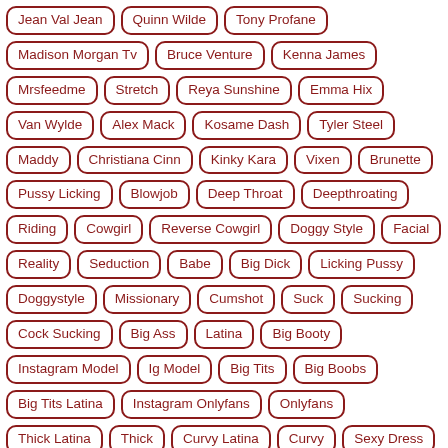Jean Val Jean
Quinn Wilde
Tony Profane
Madison Morgan Tv
Bruce Venture
Kenna James
Mrsfeedme
Stretch
Reya Sunshine
Emma Hix
Van Wylde
Alex Mack
Kosame Dash
Tyler Steel
Maddy
Christiana Cinn
Kinky Kara
Vixen
Brunette
Pussy Licking
Blowjob
Deep Throat
Deepthroating
Riding
Cowgirl
Reverse Cowgirl
Doggy Style
Facial
Reality
Seduction
Babe
Big Dick
Licking Pussy
Doggystyle
Missionary
Cumshot
Suck
Sucking
Cock Sucking
Big Ass
Latina
Big Booty
Instagram Model
Ig Model
Big Tits
Big Boobs
Big Tits Latina
Instagram Onlyfans
Onlyfans
Thick Latina
Thick
Curvy Latina
Curvy
Sexy Dress
Rough
Butt
Big Cock
Black
King Nasir
King Nasir Vs